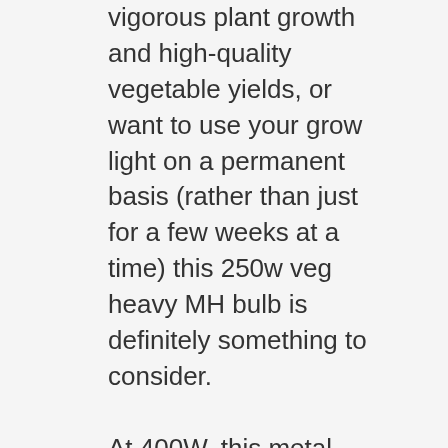vigorous plant growth and high-quality vegetable yields, or want to use your grow light on a permanent basis (rather than just for a few weeks at a time) this 250w veg heavy MH bulb is definitely something to consider.
At 400W, this metal halide lamp can produce a strong and clear white light to help flood your plants with artificial daylight, remove shadows and encourage growth.
MH bulbs are often used in commercial flood lighting to provide even coverage of light across a large area. With the help of reflectors or a polar lining within your grow tent, you can guarantee your plants will receive the optimum amount of light they need to thrive and flower.
Although designed with vegetation in mind, the light spectrum of MH bulbs can work within every stage of the growth cycle. So, if you're